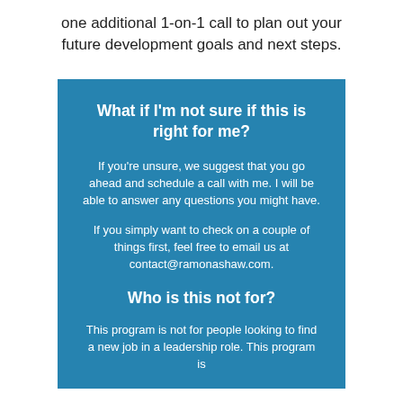one additional 1-on-1 call to plan out your future development goals and next steps.
What if I'm not sure if this is right for me?
If you're unsure, we suggest that you go ahead and schedule a call with me. I will be able to answer any questions you might have.
If you simply want to check on a couple of things first, feel free to email us at contact@ramonashaw.com.
Who is this not for?
This program is not for people looking to find a new job in a leadership role. This program is